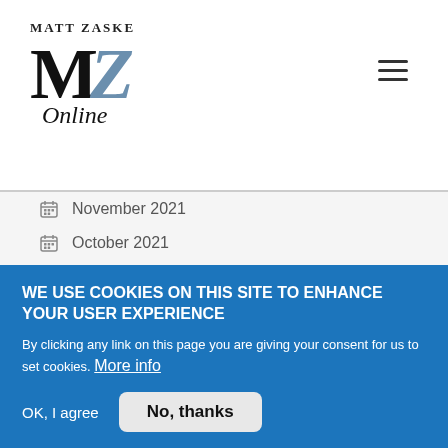[Figure (logo): Matt Zaske Online logo with large stylized MZ letters and script 'Online' text]
November 2021
October 2021
September 2021
August 2021
June 2021
WE USE COOKIES ON THIS SITE TO ENHANCE YOUR USER EXPERIENCE
By clicking any link on this page you are giving your consent for us to set cookies. More info
OK, I agree   No, thanks